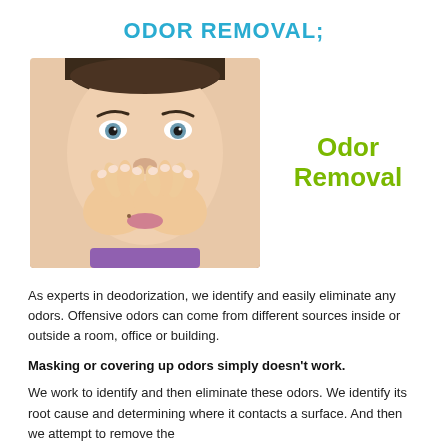ODOR REMOVAL;
[Figure (photo): Woman pinching her nose with both hands, close-up face shot. Text overlay reads 'Odor Removal' in bold green on the right side of the image.]
As experts in deodorization, we identify and easily eliminate any odors. Offensive odors can come from different sources inside or outside a room, office or building.
Masking or covering up odors simply doesn't work.
We work to identify and then eliminate these odors. We identify its root cause and determining where it contacts a surface. And then we attempt to remove the